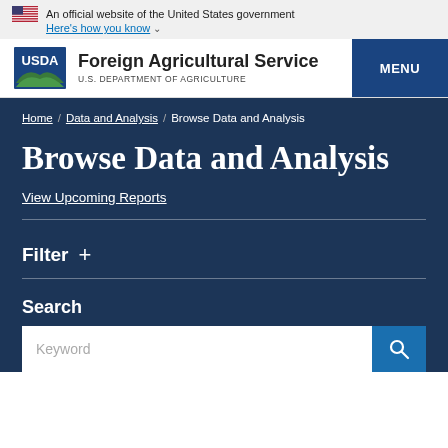An official website of the United States government Here's how you know
[Figure (logo): USDA Foreign Agricultural Service logo with text 'Foreign Agricultural Service U.S. DEPARTMENT OF AGRICULTURE' and MENU button]
Home / Data and Analysis / Browse Data and Analysis
Browse Data and Analysis
View Upcoming Reports
Filter +
Search
Keyword